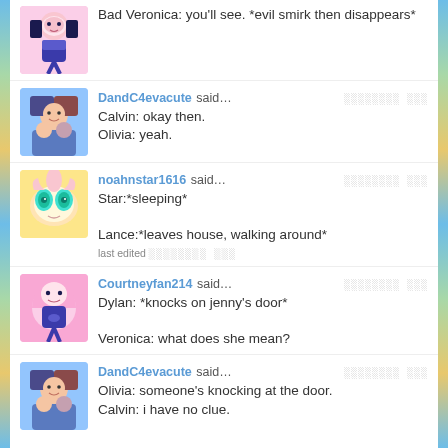Bad Veronica: you'll see. *evil smirk then disappears*
DandC4evacute said... Calvin: okay then.
Olivia: yeah.
noahnstar1616 said... Star:*sleeping*

Lance:*leaves house, walking around*
last edited ...
Courtneyfan214 said... Dylan: *knocks on jenny's door*

Veronica: what does she mean?
DandC4evacute said... Olivia: someone's knocking at the door.
Calvin: i have no clue.